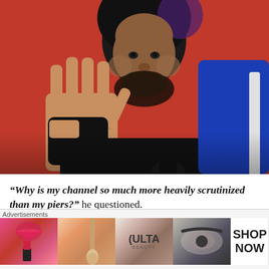[Figure (photo): A smiling Black man with an afro hairstyle waving at the camera with his right hand raised, wearing a black shirt and sitting in a blue gaming chair. The background features a red and white YouTube play button pattern.]
“Why is my channel so much more heavily scrutinized than my piers?” he questioned.
Cam Kenchin Cove He Won't “Let it
[Figure (other): Advertisement banner for ULTA Beauty showing makeup product images including lipstick, brushes, eye makeup, and ULTA logo, with a SHOP NOW call to action button.]